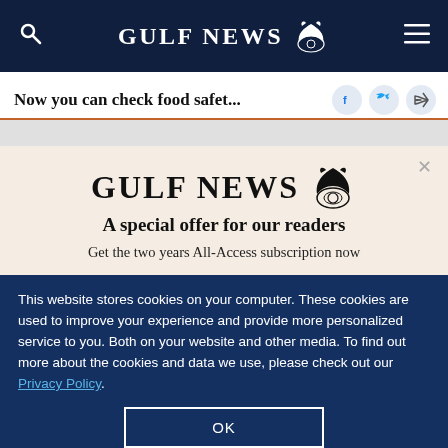GULF NEWS
Now you can check food safet...
[Figure (logo): Gulf News logo with eagle emblem]
A special offer for our readers
Get the two years All-Access subscription now
This website stores cookies on your computer. These cookies are used to improve your experience and provide more personalized service to you. Both on your website and other media. To find out more about the cookies and data we use, please check out our Privacy Policy.
OK